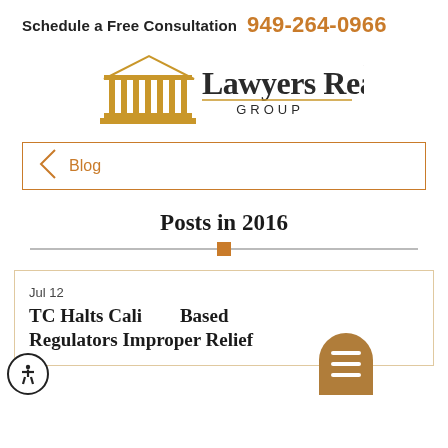Schedule a Free Consultation 949-264-0966
[Figure (logo): Lawyers Realty Group logo with golden courthouse columns icon and serif wordmark]
Blog
Posts in 2016
Jul 12
TC Halts Cali Based Regulators Improper Relief